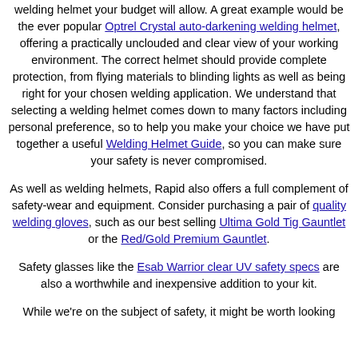welding helmet your budget will allow. A great example would be the ever popular Optrel Crystal auto-darkening welding helmet, offering a practically unclouded and clear view of your working environment. The correct helmet should provide complete protection, from flying materials to blinding lights as well as being right for your chosen welding application. We understand that selecting a welding helmet comes down to many factors including personal preference, so to help you make your choice we have put together a useful Welding Helmet Guide, so you can make sure your safety is never compromised.
As well as welding helmets, Rapid also offers a full complement of safety-wear and equipment. Consider purchasing a pair of quality welding gloves, such as our best selling Ultima Gold Tig Gauntlet or the Red/Gold Premium Gauntlet.
Safety glasses like the Esab Warrior clear UV safety specs are also a worthwhile and inexpensive addition to your kit.
While we're on the subject of safety, it might be worth looking